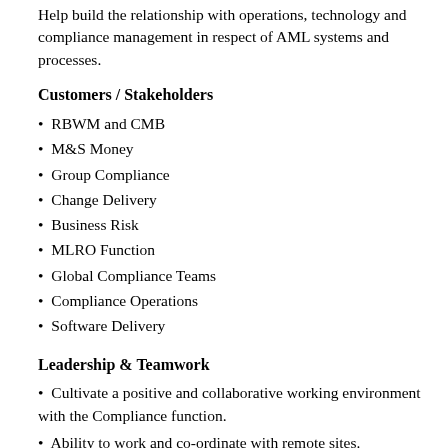Help build the relationship with operations, technology and compliance management in respect of AML systems and processes.
Customers / Stakeholders
RBWM and CMB
M&S Money
Group Compliance
Change Delivery
Business Risk
MLRO Function
Global Compliance Teams
Compliance Operations
Software Delivery
Leadership & Teamwork
Cultivate a positive and collaborative working environment with the Compliance function.
Ability to work and co-ordinate with remote sites.
Build and manage relationships with IT systems CoE
Build and manage relationships within risk, CoE, IT, Operations